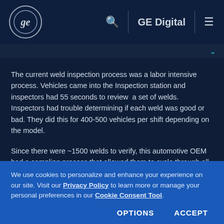GE Digital
The current weld inspection process was a labor intensive process. Vehicles came into the Inspection station and inspectors had 55 seconds to review  a set of welds. Inspectors had trouble determining if each weld was good or bad. They did this for 400-500 vehicles per shift depending on the model.
Since there were ~1500 welds to verify, this automotive OEM had a sampling process that allowed them to cycle through all
We use cookies to personalize and enhance your experience on our site. Visit our Privacy Policy to learn more or manage your personal preferences in our Cookie Consent Tool.